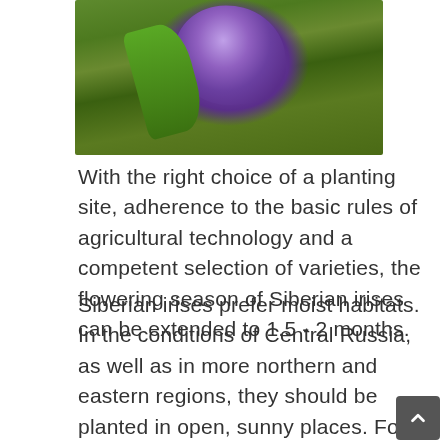[Figure (photo): Close-up photo of a purple Siberian iris flower with green leaves in the background]
With the right choice of a planting site, adherence to the basic rules of agricultural technology and a competent selection of varieties, the flowering season of Siberian irises can be extended to 1.5 - 2 months.
Siberian irises prefer moist habitats. In the conditions of Central Russia, as well as in more northern and eastern regions, they should be planted in open, sunny places. For good flowering, Siberian irises need 6-8 hours of sunlight in the morning.